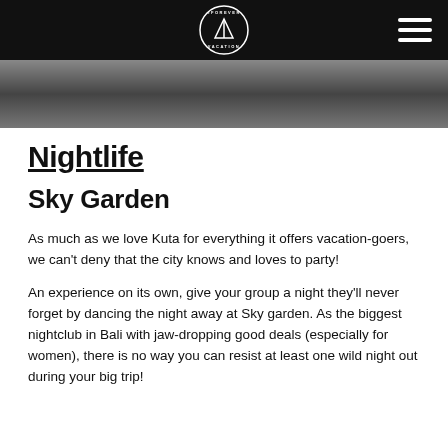#FOREVER VACATION (logo and hamburger menu)
[Figure (photo): Dark photographic hero image at the top of the page, partially visible]
Nightlife
Sky Garden
As much as we love Kuta for everything it offers vacation-goers, we can't deny that the city knows and loves to party!
An experience on its own, give your group a night they'll never forget by dancing the night away at Sky garden. As the biggest nightclub in Bali with jaw-dropping good deals (especially for women), there is no way you can resist at least one wild night out during your big trip!